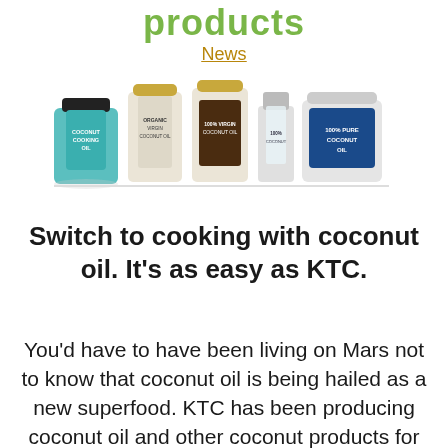products
News
[Figure (photo): Five KTC coconut oil product bottles and jars lined up in a row, including Coconut Cooking Oil, Organic Virgin Coconut Oil, 100% Virgin Coconut Oil, a small bottle, and 100% Pure Coconut Oil.]
Switch to cooking with coconut oil. It’s as easy as KTC.
You’d have to have been living on Mars not to know that coconut oil is being hailed as a new superfood. KTC has been producing coconut oil and other coconut products for some 20 years now. Not only is it healthier, it’s inherently versatile for both cooking and baking.